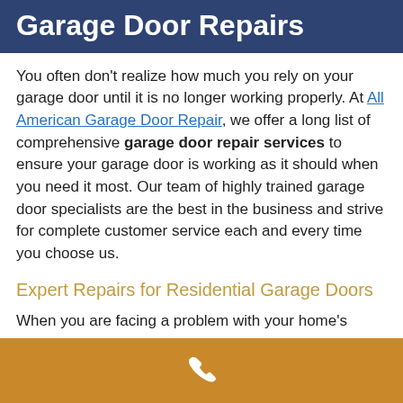Garage Door Repairs
You often don’t realize how much you rely on your garage door until it is no longer working properly. At All American Garage Door Repair, we offer a long list of comprehensive garage door repair services to ensure your garage door is working as it should when you need it most. Our team of highly trained garage door specialists are the best in the business and strive for complete customer service each and every time you choose us.
Expert Repairs for Residential Garage Doors
When you are facing a problem with your home’s
[Figure (other): Golden/amber colored footer bar with a white phone handset icon centered within it]